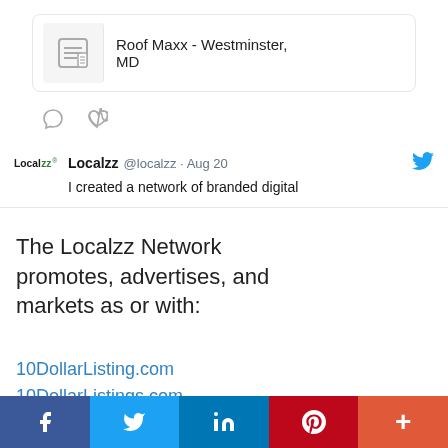[Figure (screenshot): Partial tweet card showing document icon and 'Roof Maxx - Westminster, MD' text with comment and heart icons below]
[Figure (screenshot): Tweet by Localzz @localzz · Aug 20: 'I created a network of branded digital' with Localzz logo and Twitter bird icon]
The Localzz Network promotes, advertises, and markets as or with:
10DollarListing.com
10DollarListings.com
25DollarListing.com
25DollarListings.com
91DayListing.com
91DayListings.com
[Figure (infographic): Social share bar with Facebook, Twitter, LinkedIn, Pinterest, and More buttons]